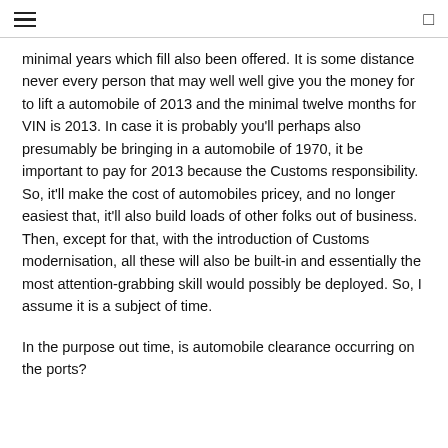≡  □
minimal years which fill also been offered. It is some distance never every person that may well well give you the money for to lift a automobile of 2013 and the minimal twelve months for VIN is 2013. In case it is probably you'll perhaps also presumably be bringing in a automobile of 1970, it be important to pay for 2013 because the Customs responsibility. So, it'll make the cost of automobiles pricey, and no longer easiest that, it'll also build loads of other folks out of business. Then, except for that, with the introduction of Customs modernisation, all these will also be built-in and essentially the most attention-grabbing skill would possibly be deployed. So, I assume it is a subject of time.
In the purpose out time, is automobile clearance occurring on the ports?